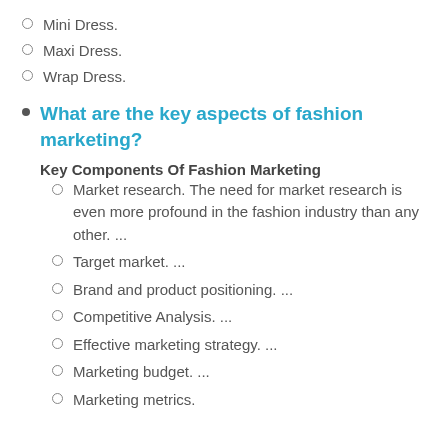Mini Dress.
Maxi Dress.
Wrap Dress.
What are the key aspects of fashion marketing?
Key Components Of Fashion Marketing
Market research. The need for market research is even more profound in the fashion industry than any other. ...
Target market. ...
Brand and product positioning. ...
Competitive Analysis. ...
Effective marketing strategy. ...
Marketing budget. ...
Marketing metrics.